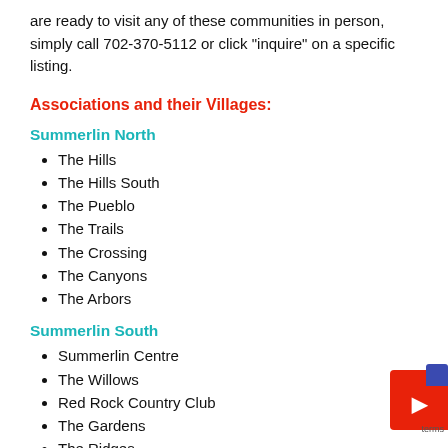are ready to visit any of these communities in person, simply call 702-370-5112 or click "inquire" on a specific listing.
Associations and their Villages:
Summerlin North
The Hills
The Hills South
The Pueblo
The Trails
The Crossing
The Canyons
The Arbors
Summerlin South
Summerlin Centre
The Willows
Red Rock Country Club
The Gardens
The Ridges
Ridgebrook